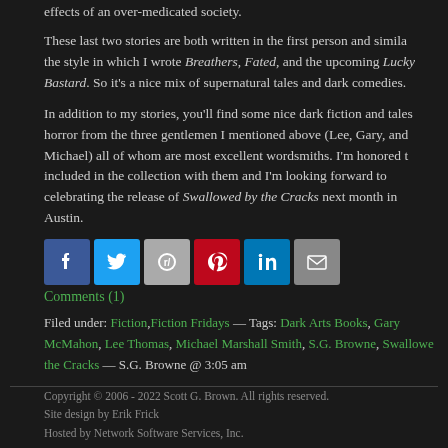effects of an over-medicated society.
These last two stories are both written in the first person and similar the style in which I wrote Breathers, Fated, and the upcoming Lucky Bastard.  So it's a nice mix of supernatural tales and dark comedies.
In addition to my stories, you'll find some nice dark fiction and tales of horror from the three gentlemen I mentioned above (Lee, Gary, and Michael) all of whom are most excellent wordsmiths.  I'm honored to be included in the collection with them and I'm looking forward to celebrating the release of Swallowed by the Cracks next month in Austin.
[Figure (infographic): Row of six social media sharing icons: Facebook, Twitter, Reddit, Pinterest, LinkedIn, Email]
Comments (1)
Filed under: Fiction, Fiction Fridays — Tags: Dark Arts Books, Gary McMahon, Lee Thomas, Michael Marshall Smith, S.G. Browne, Swallowed by the Cracks — S.G. Browne @ 3:05 am
Copyright © 2006 - 2022 Scott G. Brown. All rights reserved.
Site design by Erik Frick
Hosted by Network Software Services, Inc.